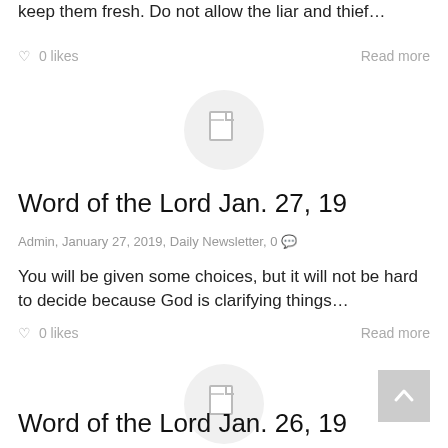keep them fresh.  Do not  allow the liar and thief…
♡ 0 likes    Read more
[Figure (illustration): Circular gray placeholder thumbnail with a document/page icon in the center]
Word of the Lord Jan. 27, 19
Admin, January 27, 2019,  Daily Newsletter, 0 💬
You will be given some choices, but it will not be hard to decide because God is clarifying things…
♡ 0 likes    Read more
[Figure (illustration): Circular gray placeholder thumbnail with a document/page icon in the center]
[Figure (illustration): Gray square back-to-top button with an upward chevron arrow]
Word of the Lord Jan. 26, 19